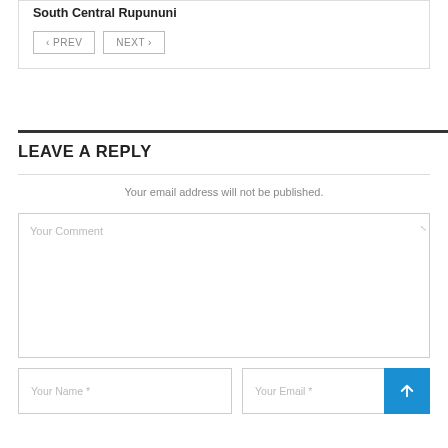South Central Rupununi
< PREV   NEXT >
LEAVE A REPLY
Your email address will not be published.
Your Comment
Your Name *
Your Email *